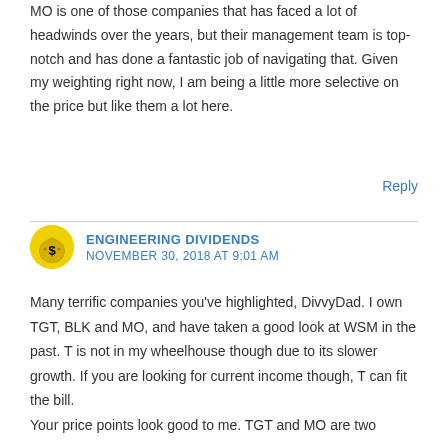MO is one of those companies that has faced a lot of headwinds over the years, but their management team is top-notch and has done a fantastic job of navigating that. Given my weighting right now, I am being a little more selective on the price but like them a lot here.
Reply
ENGINEERING DIVIDENDS
NOVEMBER 30, 2018 AT 9:01 AM
Many terrific companies you've highlighted, DivvyDad. I own TGT, BLK and MO, and have taken a good look at WSM in the past. T is not in my wheelhouse though due to its slower growth. If you are looking for current income though, T can fit the bill.
Your price points look good to me. TGT and MO are two